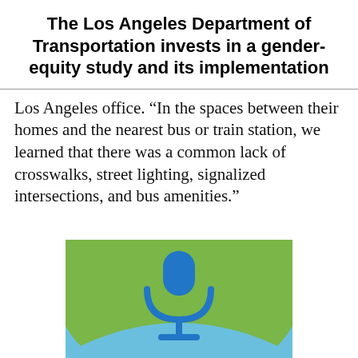The Los Angeles Department of Transportation invests in a gender-equity study and its implementation
Los Angeles office. “In the spaces between their homes and the nearest bus or train station, we learned that there was a common lack of crosswalks, street lighting, signalized intersections, and bus amenities.”
[Figure (illustration): Green and blue background with a blue microphone icon centered on the green area]